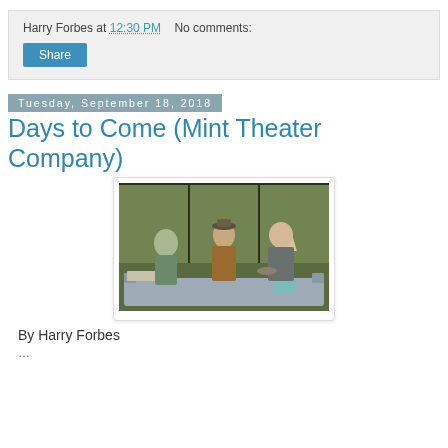Harry Forbes at 12:30 PM   No comments:
Share
Tuesday, September 18, 2018
Days to Come (Mint Theater Company)
[Figure (photo): Theater production photo showing three actors on stage: a woman in a floral dress on the left, a man in a brown jacket and hat in the center, and an older man in a suit on the right, with large windows and autumn foliage in the background.]
By Harry Forbes
...